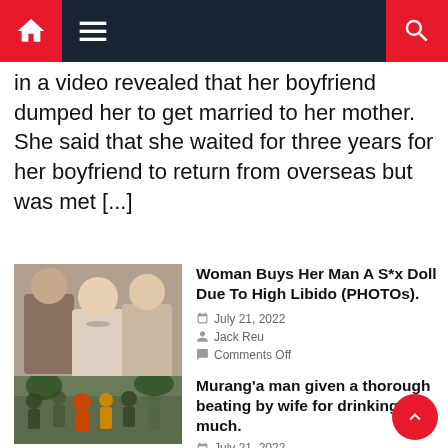Navigation bar with home, menu, and search icons
in a video revealed that her boyfriend dumped her to get married to her mother. She said that she waited for three years for her boyfriend to return from overseas but was met [...]
[Figure (photo): Photo of a man and two blonde women standing together]
Woman Buys Her Man A S*x Doll Due To High Libido (PHOTOs).
July 21, 2022
Jack Reu
Comments Off
[Figure (photo): Photo of a crowd of people outdoors, appears to be a street altercation]
Murang'a man given a thorough beating by wife for drinking too much.
July 21, 2022
Jack Reu
Comments Off